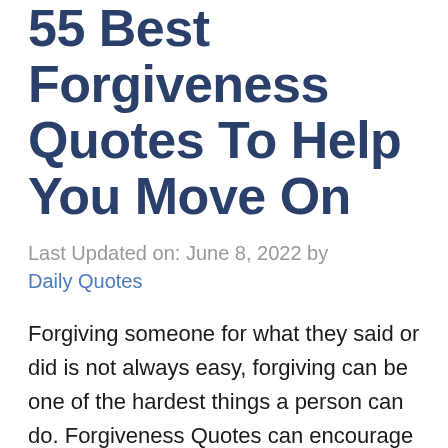55 Best Forgiveness Quotes To Help You Move On
Last Updated on: June 8, 2022 by Daily Quotes
Forgiving someone for what they said or did is not always easy, forgiving can be one of the hardest things a person can do. Forgiveness Quotes can encourage you to let go of past